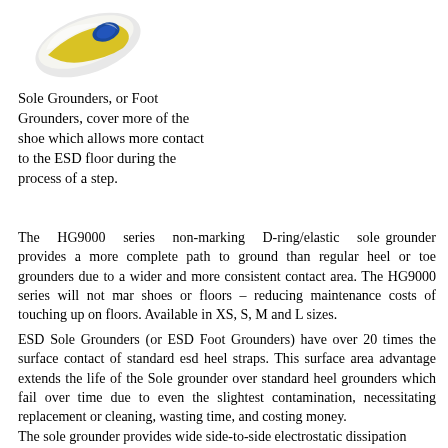[Figure (photo): Photo of an ESD sole grounder/foot grounder product, showing a yellow and blue device clipped onto the sole of a white shoe, viewed from above at an angle.]
Sole Grounders, or Foot Grounders, cover more of the shoe which allows more contact to the ESD floor during the process of a step.
The HG9000 series non-marking D-ring/elastic sole grounder provides a more complete path to ground than regular heel or toe grounders due to a wider and more consistent contact area. The HG9000 series will not mar shoes or floors – reducing maintenance costs of touching up on floors. Available in XS, S, M and L sizes.
ESD Sole Grounders (or ESD Foot Grounders) have over 20 times the surface contact of standard esd heel straps. This surface area advantage extends the life of the Sole grounder over standard heel grounders which fail over time due to even the slightest contamination, necessitating replacement or cleaning, wasting time, and costing money.
The sole grounder provides wide side-to-side electrostatic dissipation...